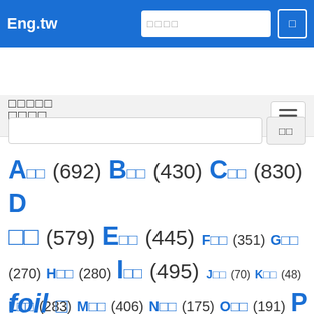Eng.tw
□□□□
□□□□□
A□□ (692) B□□ (430) C□□ (830) D□□ (579) E□□ (445) F□□ (351) G□□ (270) H□□ (280) I□□ (495) J□□ (70) K□□ (48) L□□ (283) M□□ (406) N□□ (175) O□□ (191) P□□ (791) Q□□ (42) R□□ (428) S□□ (968) T□□ (472) U□□ (187) V□□ (155) W□□ (154) X□□ (10) Y□□ (19) Z□□ (14)
foil □